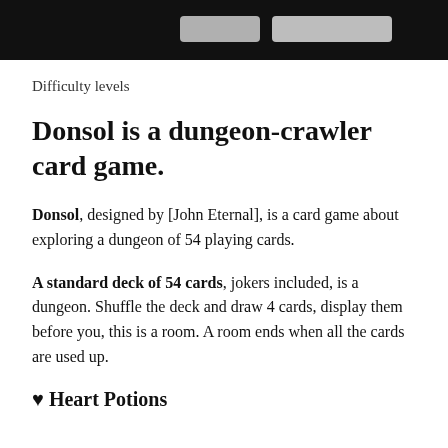[Figure (screenshot): Black bar at top of page with two light-colored pill/rectangle UI elements visible]
Difficulty levels
Donsol is a dungeon-crawler card game.
Donsol, designed by [John Eternal], is a card game about exploring a dungeon of 54 playing cards.
A standard deck of 54 cards, jokers included, is a dungeon. Shuffle the deck and draw 4 cards, display them before you, this is a room. A room ends when all the cards are used up.
♥ Heart Potions